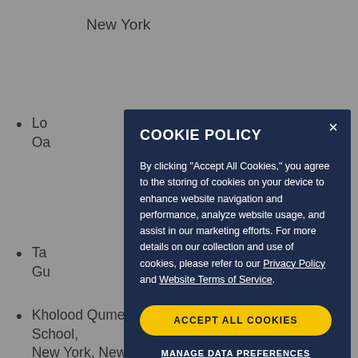New York
Lo... my, Oa...
Ta... Gu...
Ju... em, Vi...
Je... .C.
Do... Em...
Kholood Qumei, Manhattan International High School, New York, New York
[Figure (screenshot): Cookie Policy modal dialog with dark navy background. Title: COOKIE POLICY. Body text: By clicking "Accept All Cookies," you agree to the storing of cookies on your device to enhance website navigation and performance, analyze website usage, and assist in our marketing efforts. For more details on our collection and use of cookies, please refer to our Privacy Policy and Website Terms of Service. Two buttons: ACCEPT ALL COOKIES (yellow) and MANAGE DATA PREFERENCES (underlined text).]